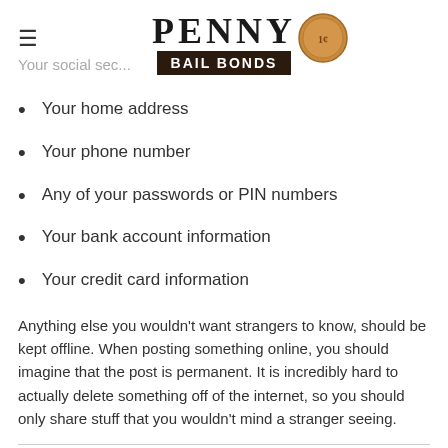PENNY BAIL BONDS
Your social security... (partial)
Your home address
Your phone number
Any of your passwords or PIN numbers
Your bank account information
Your credit card information
Anything else you wouldn't want strangers to know, should be kept offline. When posting something online, you should imagine that the post is permanent. It is incredibly hard to actually delete something off of the internet, so you should only share stuff that you wouldn't mind a stranger seeing.
Social media sites are meant to be fun, but they can also be dangerous. While prominent sites